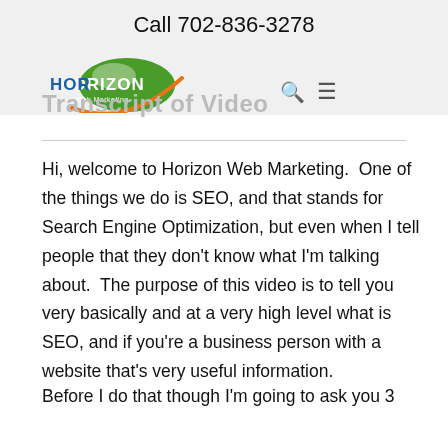Call 702-836-3278
[Figure (logo): Horizon Web Marketing logo — green oval with 'HORIZON' text and orange swoosh arc]
Transcript of Video
Hi, welcome to Horizon Web Marketing.  One of the things we do is SEO, and that stands for Search Engine Optimization, but even when I tell people that they don't know what I'm talking about.  The purpose of this video is to tell you very basically and at a very high level what is SEO, and if you're a business person with a website that's very useful information.
Before I do that though I'm going to ask you 3 questions to qualify whether you need to read